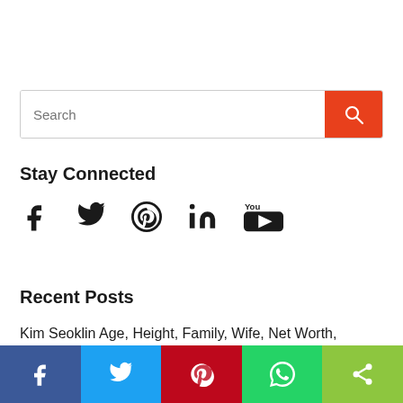[Figure (screenshot): Search bar with red search button]
Stay Connected
[Figure (infographic): Social media icons: Facebook, Twitter, Pinterest, LinkedIn, YouTube]
Recent Posts
Kim Seoklin Age, Height, Family, Wife, Net Worth, Affairs,
[Figure (infographic): Bottom share bar with Facebook, Twitter, Pinterest, WhatsApp, and share icons]